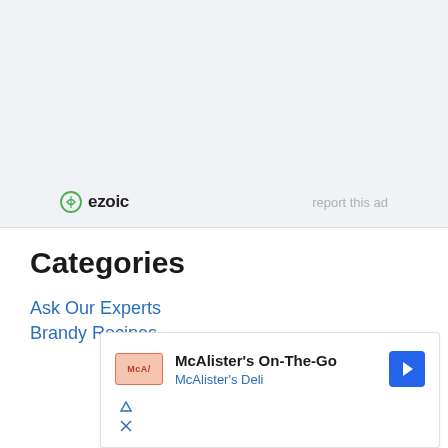[Figure (other): Ezoic ad banner placeholder with light gray background, showing ezoic logo and 'report this ad' link]
Categories
Ask Our Experts
Brandy Recipes
[Figure (other): Ad unit showing McAlister's On-The-Go with McAlister's Deli brand, navigation icon, and ad controls]